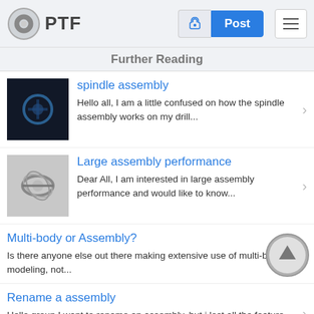PTF | Post
Further Reading
spindle assembly — Hello all, I am a little confused on how the spindle assembly works on my drill...
Large assembly performance — Dear All, I am interested in large assembly performance and would like to know...
Multi-body or Assembly? — Is there anyone else out there making extensive use of multi-body modeling, not...
Rename a assembly — Hello group,I want to rename an assembly, but i lost all the feature part...
MPC Millenium Falcon Assembly Instructions — I currently have the Return of the Jedi MPC Millenium...